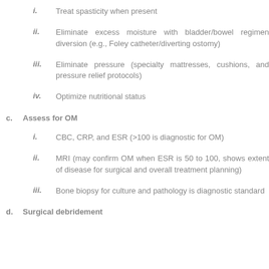i.  Treat spasticity when present
ii.  Eliminate excess moisture with bladder/bowel regimen diversion (e.g., Foley catheter/diverting ostomy)
iii.  Eliminate pressure (specialty mattresses, cushions, and pressure relief protocols)
iv.  Optimize nutritional status
c.  Assess for OM
i.  CBC, CRP, and ESR (>100 is diagnostic for OM)
ii.  MRI (may confirm OM when ESR is 50 to 100, shows extent of disease for surgical and overall treatment planning)
iii.  Bone biopsy for culture and pathology is diagnostic standard
d.  Surgical debridement